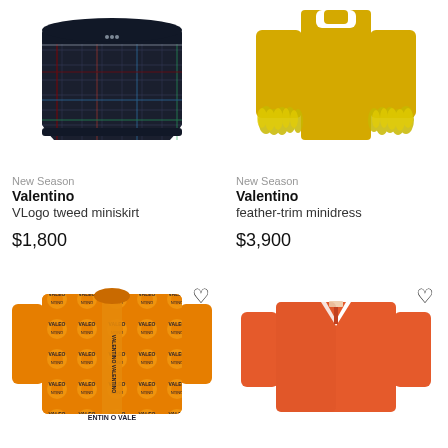[Figure (photo): Valentino VLogo tweed miniskirt - dark navy/multicolor tweed fabric]
[Figure (photo): Valentino feather-trim minidress - yellow with feathered cuffs]
New Season
Valentino
VLogo tweed miniskirt
$1,800
New Season
Valentino
feather-trim minidress
$3,900
[Figure (photo): Valentino orange/yellow baroque print long-sleeve blouse with logo pattern]
[Figure (photo): Orange long-sleeve tunic/blouse with V-neck]